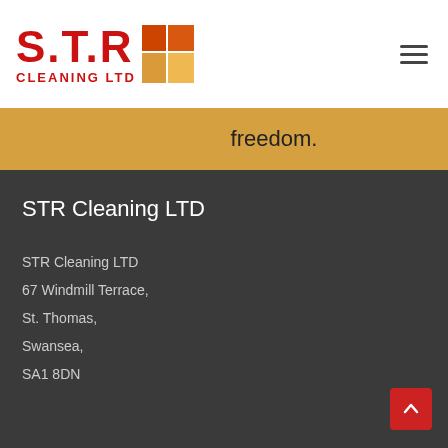[Figure (logo): STR Cleaning LTD logo with red text and orange/tan grid icon]
freedom.
STR Cleaning LTD
STR Cleaning LTD
67 Windmill Terrace,
St. Thomas,
Swansea,
SA1 8DN